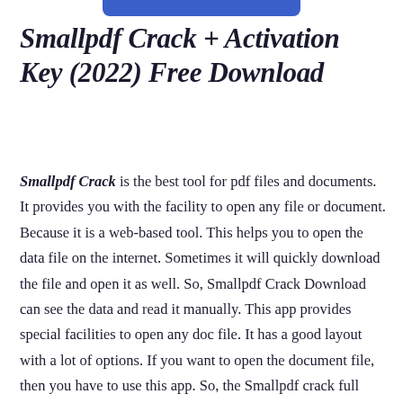Smallpdf Crack + Activation Key (2022) Free Download
Smallpdf Crack is the best tool for pdf files and documents. It provides you with the facility to open any file or document. Because it is a web-based tool. This helps you to open the data file on the internet. Sometimes it will quickly download the file and open it as well. So, Smallpdf Crack Download can see the data and read it manually. This app provides special facilities to open any doc file. It has a good layout with a lot of options. If you want to open the document file, then you have to use this app. So, the Smallpdf crack full version is perfect to fulfill your needs. It will not take much space of your PC's hard drive. Because it is a lightweight and simple app.